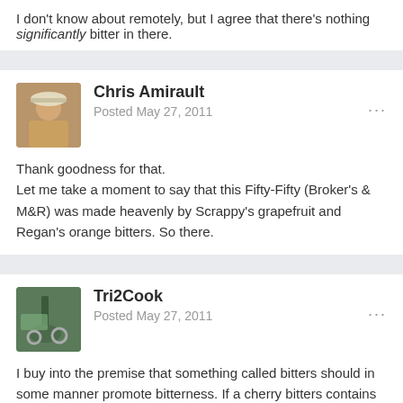I don't know about remotely, but I agree that there's nothing significantly bitter in there.
Thank goodness for that.
Let me take a moment to say that this Fifty-Fifty (Broker's & M&R) was made heavenly by Scrappy's grapefruit and Regan's orange bitters. So there.
I buy into the premise that something called bitters should in some manner promote bitterness. If a cherry bitters contains no bittering agents, isn't it pretty much just cherry (or cherry + whatever other aromatics are included) vodka? I expect there to